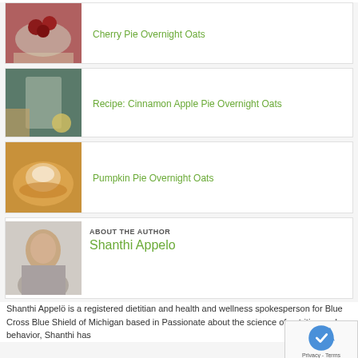[Figure (photo): Cherry pie overnight oats in a bowl with cherries on top]
Cherry Pie Overnight Oats
[Figure (photo): Cinnamon apple pie overnight oats in a mason jar with lemon]
Recipe: Cinnamon Apple Pie Overnight Oats
[Figure (photo): Pumpkin pie overnight oats in a bowl with whipped cream]
Pumpkin Pie Overnight Oats
[Figure (photo): Headshot of Shanthi Appelo, a woman with long dark hair]
ABOUT THE AUTHOR
Shanthi Appelo
Shanthi Appelö is a registered dietitian and health and wellness spokesperson for Blue Cross Blue Shield of Michigan based in Passionate about the science of nutrition and behavior, Shanthi has